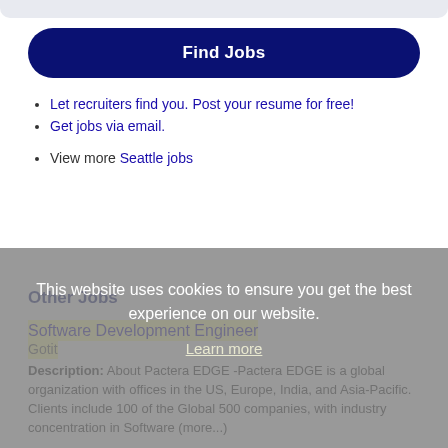Find Jobs
Let recruiters find you. Post your resume for free!
Get jobs via email.
View more Seattle jobs
This website uses cookies to ensure you get the best experience on our website.
Learn more
Other Jobs
Software Development Engineer
Description: About Pactera EDGE -Pactera EDGE is a global organization with offices in the US, Europe, India, and Asia-Pacific. Clients include 100 of the Global 500 companies, with industry concentration in Software (more...)